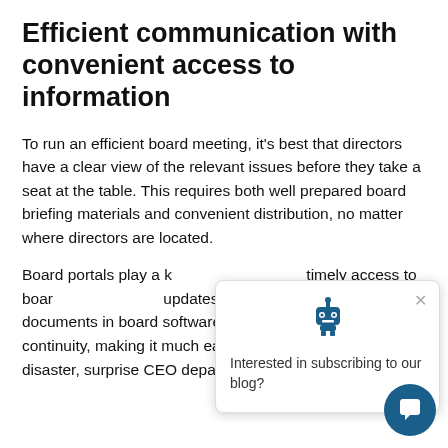Efficient communication with convenient access to information
To run an efficient board meeting, it’s best that directors have a clear view of the relevant issues before they take a seat at the table. This requires both well prepared board briefing materials and convenient distribution, no matter where directors are located.
Board portals play a k… timely access to boar… updates. Timely and d… documents in board software also supports business continuity, making it much easier to navigate a natural disaster, surprise CEO departure, or public relations crisis.
[Figure (screenshot): A popup widget showing a robot icon at top center, an X close button, and the text 'Interested in subscribing to our blog?']
[Figure (other): A dark blue circular chat bubble button in the bottom right corner with a white speech bubble icon]